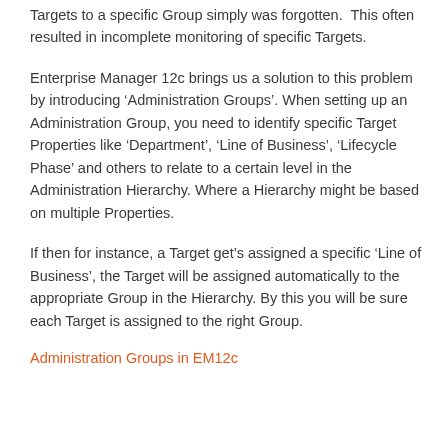Targets to a specific Group simply was forgotten.  This often resulted in incomplete monitoring of specific Targets.
Enterprise Manager 12c brings us a solution to this problem by introducing ‘Administration Groups’. When setting up an Administration Group, you need to identify specific Target Properties like ‘Department’, ‘Line of Business’, ‘Lifecycle Phase’ and others to relate to a certain level in the Administration Hierarchy. Where a Hierarchy might be based on multiple Properties.
If then for instance, a Target get’s assigned a specific ‘Line of Business’, the Target will be assigned automatically to the appropriate Group in the Hierarchy. By this you will be sure each Target is assigned to the right Group.
Administration Groups in EM12c